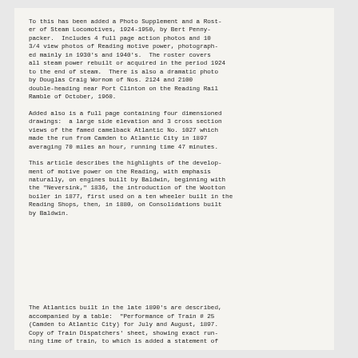To this has been added a Photo Supplement and a Roster of Steam Locomotives, 1924-1950, by Bert Pennypacker. Includes 4 full page action photos and 10 3/4 view photos of Reading motive power, photographed mainly in 1930's and 1940's. The roster covers all steam power rebuilt or acquired in the period 1924 to the end of steam. There is also a dramatic photo by Douglas Craig Wornom of Nos. 2124 and 2100 double-heading near Port Clinton on the Reading Rail Ramble of October, 1960.
Added also is a full page containing four dimensioned drawings: a large side elevation and 3 cross section views of the famed camelback Atlantic No. 1027 which made the run from Camden to Atlantic City in 1897 averaging 70 miles an hour, running time 47 minutes.
This article describes the highlights of the development of motive power on the Reading, with emphasis naturally, on engines built by Baldwin, beginning with the "Neversink," 1836, the introduction of the Wootton boiler in 1877, first used on a ten wheeler built in the Reading Shops, then, in 1880, on Consolidations built by Baldwin.
The Atlantics built in the late 1890's are described, accompanied by a table: "Performance of Train # 25 (Camden to Atlantic City) for July and August, 1897. Copy of Train Dispatchers' sheet, showing exact running time of train, to which is added a statement of